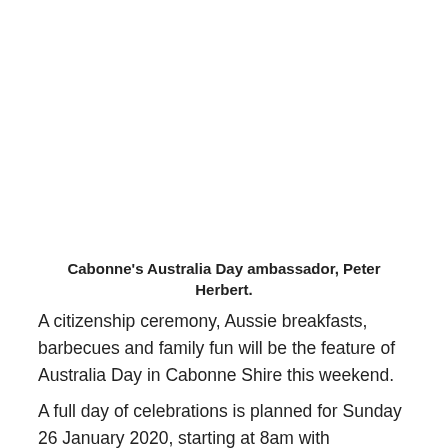Cabonne's Australia Day ambassador, Peter Herbert.
A citizenship ceremony, Aussie breakfasts, barbecues and family fun will be the feature of Australia Day in Cabonne Shire this weekend.
A full day of celebrations is planned for Sunday 26 January 2020, starting at 8am with breakfasts at several